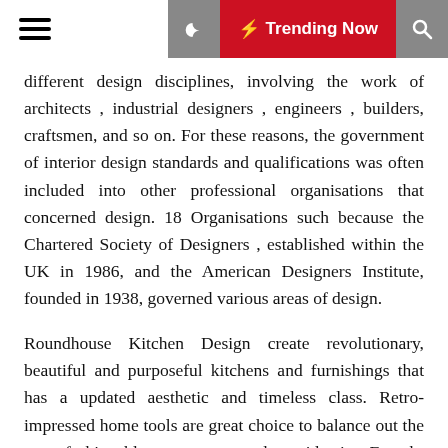☰  🌙  ⚡ Trending Now  🔍
different design disciplines, involving the work of architects , industrial designers , engineers , builders, craftsmen, and so on. For these reasons, the government of interior design standards and qualifications was often included into other professional organisations that concerned design. 18 Organisations such because the Chartered Society of Designers , established within the UK in 1986, and the American Designers Institute, founded in 1938, governed various areas of design.
Roundhouse Kitchen Design create revolutionary, beautiful and purposeful kitchens and furnishings that has a updated aesthetic and timeless class. Retro-impressed home tools are great choice to balance out the extra fashionable components and provides it a French-countryside feel. White shaker cupboards, soapstone counters and a easy white subway tile provides this nation kitchen timeless quality. One is sort of stage with the tub and has a shelf space on excessive while the opposite two are above that one, indented into the wall.